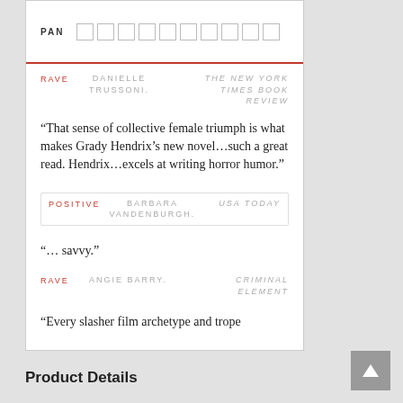PAN [star rating boxes]
RAVE   DANIELLE TRUSSONI.   THE NEW YORK TIMES BOOK REVIEW
“That sense of collective female triumph is what makes Grady Hendrix’s new novel…such a great read. Hendrix…excels at writing horror humor.”
POSITIVE   BARBARA VANDENBURGH.   USA TODAY
“… savvy.”
RAVE   ANGIE BARRY.   CRIMINAL ELEMENT
“Every slasher film archetype and trope
Product Details